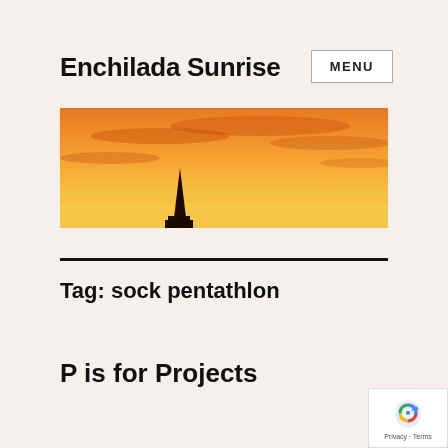Enchilada Sunrise
MENU
[Figure (photo): Wide panoramic sunset photo with orange and yellow sky, dark silhouette of a church spire pointing upward in the center-left.]
Tag: sock pentathlon
P is for Projects